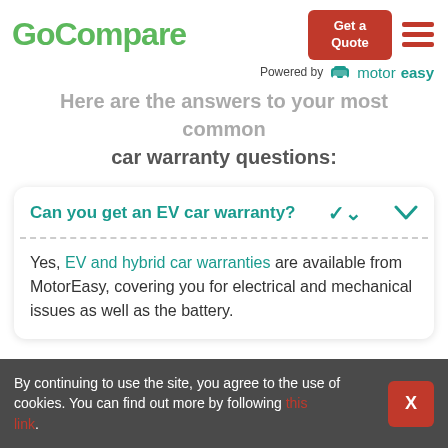GoCompare
Powered by motoreasy
Here are the answers to your most common car warranty questions:
Can you get an EV car warranty?
Yes, EV and hybrid car warranties are available from MotorEasy, covering you for electrical and mechanical issues as well as the battery.
By continuing to use the site, you agree to the use of cookies. You can find out more by following this link.